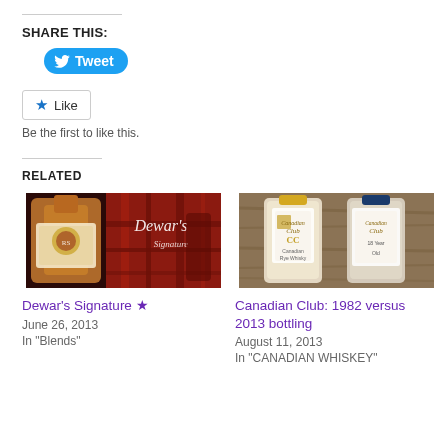SHARE THIS:
[Figure (other): Twitter Tweet button (blue rounded button with bird icon and 'Tweet' label)]
[Figure (other): Like button (outlined button with blue star icon and 'Like' label)]
Be the first to like this.
RELATED
[Figure (photo): Photo of Dewar's Signature whisky bottle against red background]
Dewar's Signature ★
June 26, 2013
In "Blends"
[Figure (photo): Photo of two Canadian Club whisky bottles lying on wood surface]
Canadian Club: 1982 versus 2013 bottling
August 11, 2013
In "CANADIAN WHISKEY"